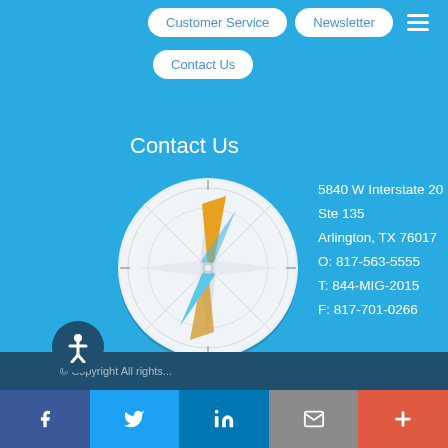Customer Service | Newsletter | Contact Us (nav buttons)
Contact Us
[Figure (illustration): Compass rose illustration with orange and light-blue needles on a white/light-gray circular compass face]
5840 W Interstate 20
Ste 135
Arlington, TX 76017
O: 817-563-5555
T: 844-MIG-2015
F: 817-701-0266
Facebook | Twitter | LinkedIn | Email | More